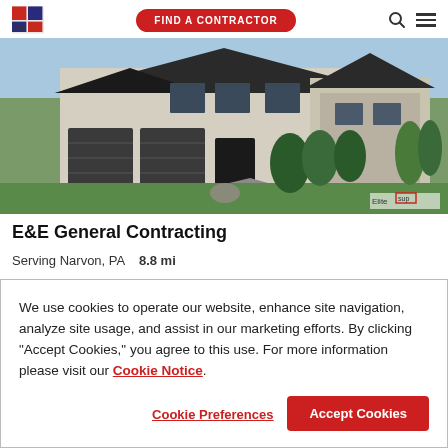GAF | FIND A CONTRACTOR
[Figure (photo): Exterior of a modern two-story house with dark shingle roof, three-car garage, stone and stucco facade, landscaped front yard. Elite badge visible in lower right corner.]
E&E General Contracting
Serving Narvon, PA   8.8 mi
We use cookies to operate our website, enhance site navigation, analyze site usage, and assist in our marketing efforts. By clicking "Accept Cookies," you agree to this use. For more information please visit our Cookie Notice.
Cookie Preferences | Accept Cookies